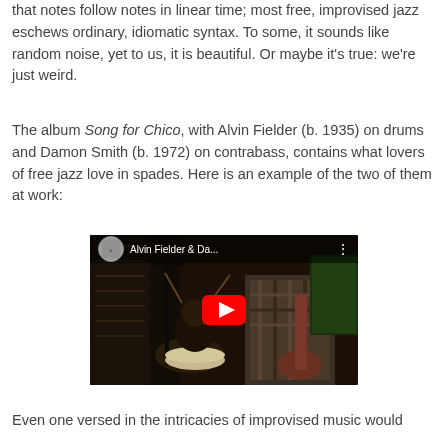that notes follow notes in linear time; most free, improvised jazz eschews ordinary, idiomatic syntax. To some, it sounds like random noise, yet to us, it is beautiful. Or maybe it's true: we're just weird.
The album Song for Chico, with Alvin Fielder (b. 1935) on drums and Damon Smith (b. 1972) on contrabass, contains what lovers of free jazz love in spades. Here is an example of the two of them at work:
[Figure (screenshot): Embedded YouTube video player showing Alvin Fielder & Da... with a red play button in the center and a dark thumbnail background showing two musicians playing instruments in what appears to be a record store.]
Even one versed in the intricacies of improvised music would